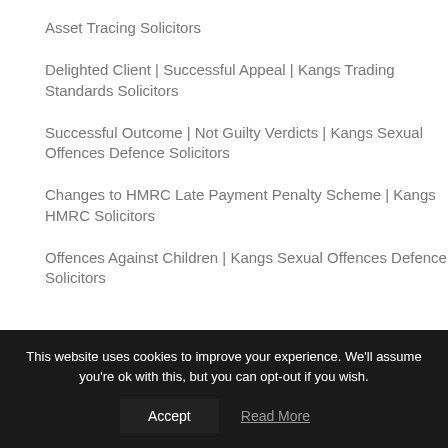Asset Tracing Solicitors
Delighted Client | Successful Appeal | Kangs Trading Standards Solicitors
Successful Outcome | Not Guilty Verdicts | Kangs Sexual Offences Defence Solicitors
Changes to HMRC Late Payment Penalty Scheme | Kangs HMRC Solicitors
Offences Against Children | Kangs Sexual Offences Defence Solicitors
This website uses cookies to improve your experience. We'll assume you're ok with this, but you can opt-out if you wish.
Accept
Read More